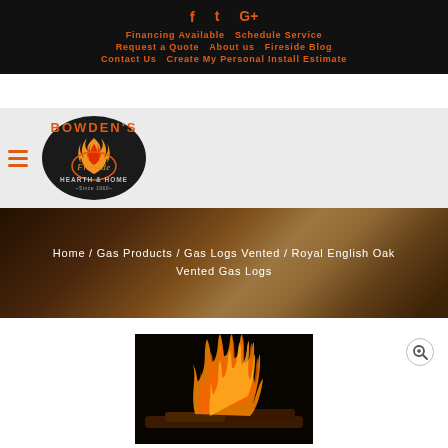f  t  G+  Financing Available  Schedule Service  Request a Quote  About us  Fireside Blog  Contact Us  Create My Personal Install Estimate
[Figure (logo): Bowden's Fireside Hearth & Home logo with flame graphic, oval shape, Since 1960 tagline]
Home / Gas Products / Gas Logs Vented / Royal English Oak Vented Gas Logs
[Figure (photo): Photo of gas logs fireplace with flames visible, dark background, shown partially at bottom of page. Zoom/magnify button visible.]